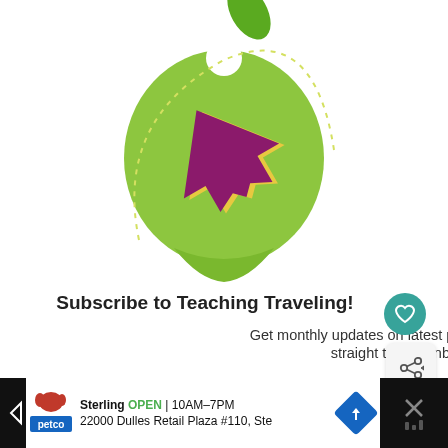[Figure (logo): Green apple logo with a purple/magenta airplane silhouette in the center and a green leaf on top, with a dotted arc path around the apple. Teaching Traveling brand logo.]
Subscribe to Teaching Traveling!
Get monthly updates on latest posts and more, straight to your inbox.
[Figure (infographic): Input field with placeholder text 'First Name']
[Figure (infographic): WHAT'S NEXT arrow panel with thumbnail image and text 'Will Peach: Teaching ES...']
Sterling OPEN | 10AM–7PM 22000 Dulles Retail Plaza #110, Ste